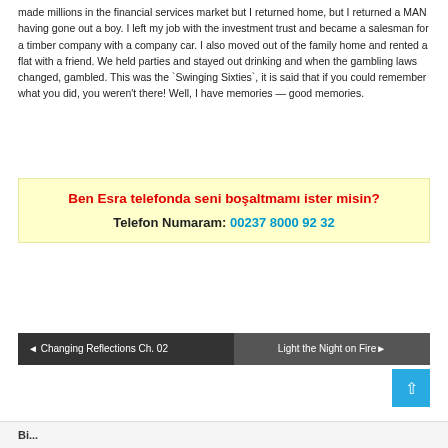made millions in the financial services market but I returned home, but I returned a MAN having gone out a boy. I left my job with the investment trust and became a salesman for a timber company with a company car. I also moved out of the family home and rented a flat with a friend. We held parties and stayed out drinking and when the gambling laws changed, gambled. This was the `Swinging Sixties`, it is said that if you could remember what you did, you weren't there! Well, I have memories — good memories.
[Figure (infographic): Yellow advertisement box: Ben Esra telefonda seni boşaltmamı ister misin? Telefon Numaram: 00237 8000 92 32]
◄ Changing Reflections Ch. 02
Light the Night on Fire ►
Bi...